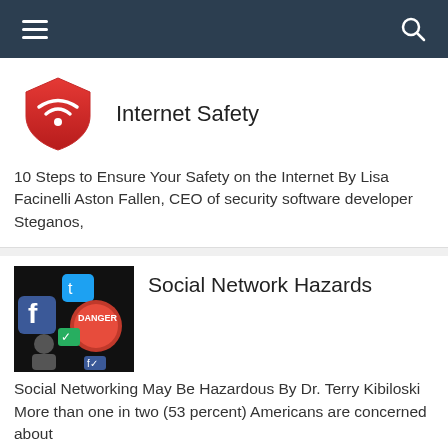Internet Safety blog – navigation bar
Internet Safety
10 Steps to Ensure Your Safety on the Internet By Lisa Facinelli Aston Fallen, CEO of security software developer Steganos,
Social Network Hazards
Social Networking May Be Hazardous By Dr. Terry Kibiloski More than one in two (53 percent) Americans are concerned about
Protect Yourself Against Identity Theft